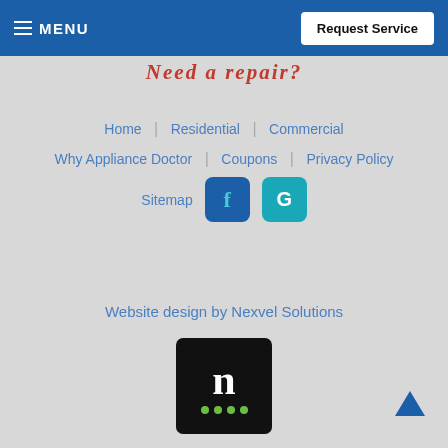≡ MENU | Request Service
Need a repair?
Home
Residential
Commercial
Why Appliance Doctor
Coupons
Privacy Policy
Sitemap
[Figure (logo): Facebook icon - blue square with f letter]
[Figure (logo): Google icon - teal square with G letter]
Website design by Nexvel Solutions
[Figure (logo): Nexvel Solutions logo - black square with white lowercase n and green dots below]